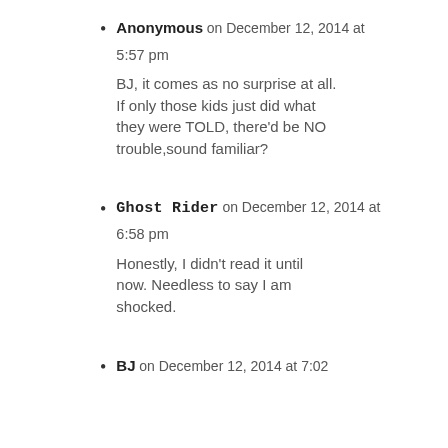Anonymous on December 12, 2014 at 5:57 pm
BJ, it comes as no surprise at all. If only those kids just did what they were TOLD, there'd be NO trouble,sound familiar?
Ghost Rider on December 12, 2014 at 6:58 pm
Honestly, I didn't read it until now. Needless to say I am shocked.
BJ on December 12, 2014 at 7:02